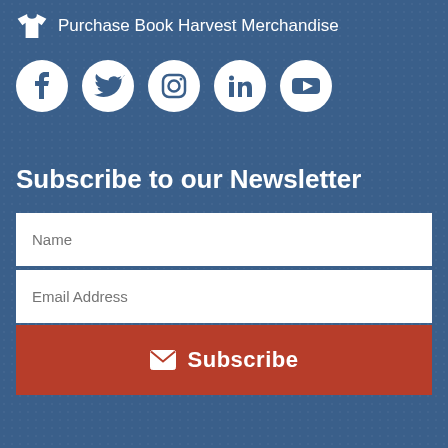Purchase Book Harvest Merchandise
[Figure (illustration): Row of social media icons: Facebook, Twitter, Instagram, LinkedIn, YouTube — all white on blue background]
Subscribe to our Newsletter
Name
Email Address
Subscribe